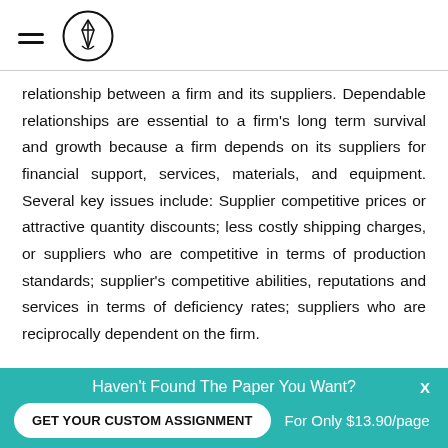[hamburger menu icon] [logo icon]
relationship between a firm and its suppliers. Dependable relationships are essential to a firm's long term survival and growth because a firm depends on its suppliers for financial support, services, materials, and equipment. Several key issues include: Supplier competitive prices or attractive quantity discounts; less costly shipping charges, or suppliers who are competitive in terms of production standards; supplier's competitive abilities, reputations and services in terms of deficiency rates; suppliers who are reciprocally dependent on the firm.
Haven't Found The Paper You Want?  X  GET YOUR CUSTOM ASSIGNMENT  For Only $13.90/page